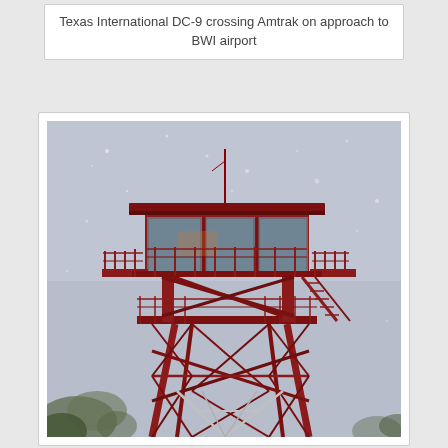Texas International DC-9 crossing Amtrak on approach to BWI airport
[Figure (photo): A red steel fire lookout tower structure with an enclosed observation cabin at the top featuring large windows and railings on all sides, supported by a latticed metal framework, photographed against a pale grey sky.]